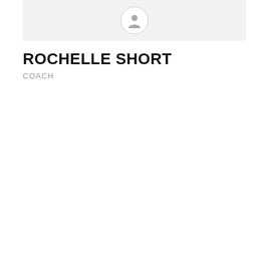[Figure (photo): Profile image area with a gray background and a default user avatar icon (person silhouette) in a white circle]
ROCHELLE SHORT
COACH